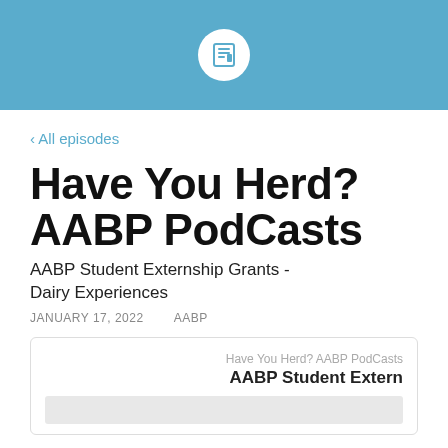[Figure (logo): Blue header bar with circular icon containing a podcast/bookmark symbol]
‹ All episodes
Have You Herd? AABP PodCasts
AABP Student Externship Grants - Dairy Experiences
JANUARY 17, 2022    AABP
[Figure (screenshot): Embedded podcast player card showing 'Have You Herd? AABP PodCasts' and 'AABP Student Extern' with a progress/waveform bar at the bottom]